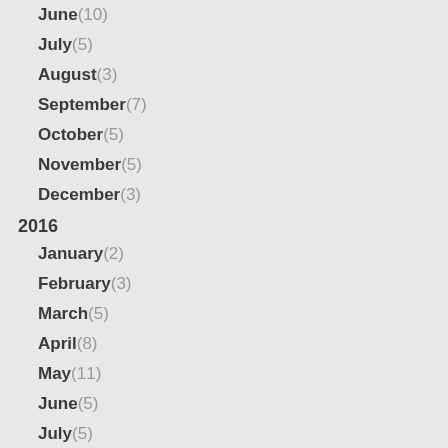June(10)
July(5)
August(3)
September(7)
October(5)
November(5)
December(3)
2016
January(2)
February(3)
March(5)
April(8)
May(11)
June(5)
July(5)